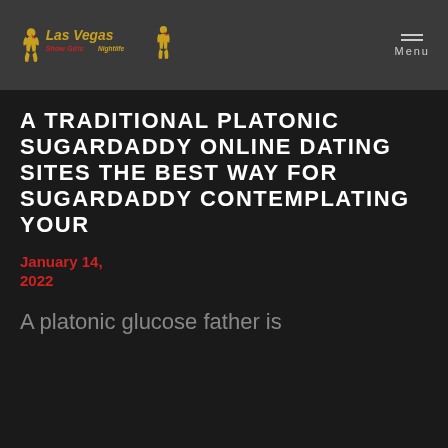[Figure (logo): Las Vegas Show Girls Nightlife logo with stylized text and decorative figures]
Menu
A TRADITIONAL PLATONIC SUGARDADDY ONLINE DATING SITES THE BEST WAY FOR SUGARDADDY CONTEMPLATING YOUR
January 14, 2022
A platonic glucose father is